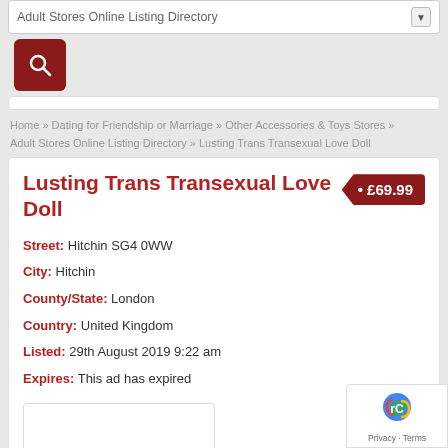Adult Stores Online Listing Directory
[Figure (screenshot): Search button with magnifying glass icon on dark red background]
Home » Dating for Friendship or Marriage » Other Accessories & Toys Stores » Adult Stores Online Listing Directory » Lusting Trans Transexual Love Doll
Lusting Trans Transexual Love Doll
£69.99
Street: Hitchin SG4 0WW
City: Hitchin
County/State: London
Country: United Kingdom
Listed: 29th August 2019 9:22 am
Expires: This ad has expired